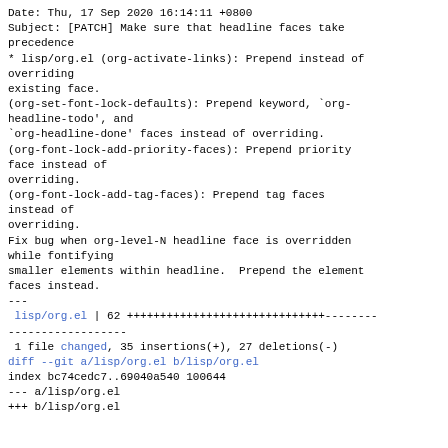Date: Thu, 17 Sep 2020 16:14:11 +0800
Subject: [PATCH] Make sure that headline faces take
precedence
* lisp/org.el (org-activate-links): Prepend instead of
overriding
existing face.
(org-set-font-lock-defaults): Prepend keyword, `org-
headline-todo', and
`org-headline-done' faces instead of overriding.
(org-font-lock-add-priority-faces): Prepend priority
face instead of
overriding.
(org-font-lock-add-tag-faces): Prepend tag faces
instead of
overriding.
Fix bug when org-level-N headline face is overridden
while fontifying
smaller elements within headline.  Prepend the element
faces instead.
---
 lisp/org.el | 62 +++++++++++++++++++++++++++++---------
------------------
 1 file changed, 35 insertions(+), 27 deletions(-)
diff --git a/lisp/org.el b/lisp/org.el
index bc74cedc7..69040a540 100644
--- a/lisp/org.el
+++ b/lisp/org.el